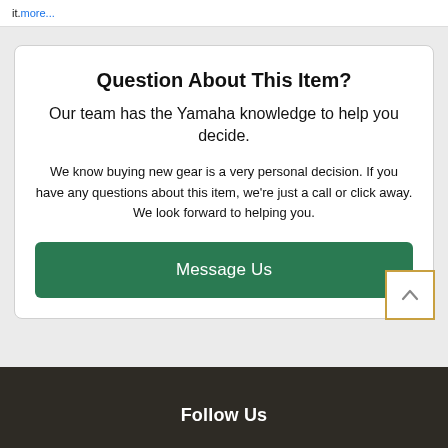it. more...
Question About This Item?
Our team has the Yamaha knowledge to help you decide.
We know buying new gear is a very personal decision. If you have any questions about this item, we're just a call or click away. We look forward to helping you.
Message Us
Follow Us